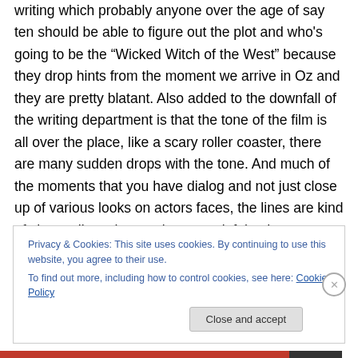writing which probably anyone over the age of say ten should be able to figure out the plot and who's going to be the "Wicked Witch of the West" because they drop hints from the moment we arrive in Oz and they are pretty blatant. Also added to the downfall of the writing department is that the tone of the film is all over the place, like a scary roller coaster, there are many sudden drops with the tone. And much of the moments that you have dialog and not just close up of various looks on actors faces, the lines are kind of cheesy lines that are just as painful to hear as they probably were for the actors to say.
Privacy & Cookies: This site uses cookies. By continuing to use this website, you agree to their use.
To find out more, including how to control cookies, see here: Cookie Policy